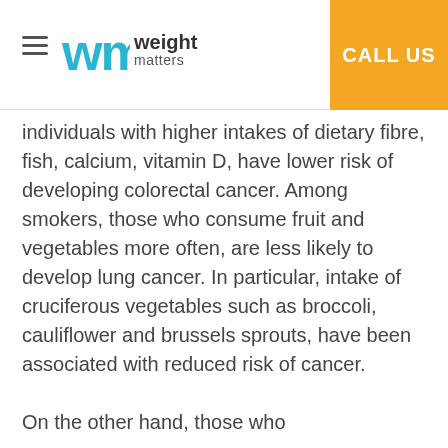weight matters | CALL US
individuals with higher intakes of dietary fibre, fish, calcium, vitamin D, have lower risk of developing colorectal cancer. Among smokers, those who consume fruit and vegetables more often, are less likely to develop lung cancer. In particular, intake of cruciferous vegetables such as broccoli, cauliflower and brussels sprouts, have been associated with reduced risk of cancer.
On the other hand, those who